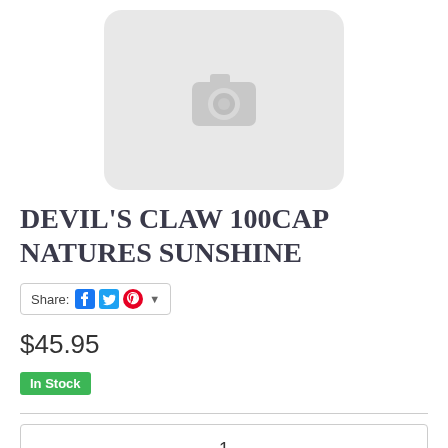[Figure (illustration): Placeholder image with camera icon on light grey rounded rectangle background]
DEVIL'S CLAW 100CAP NATURES SUNSHINE
Share: [Facebook] [Twitter] [Pinterest] ▾
$45.95
In Stock
1